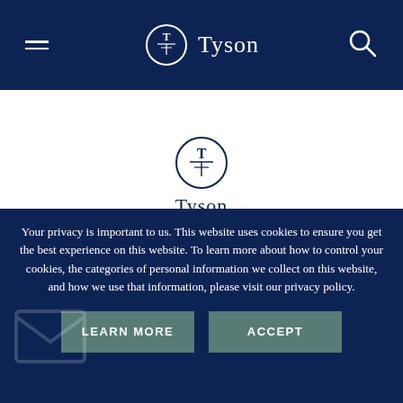Tyson Foods navigation bar with hamburger menu, Tyson logo, and search icon
[Figure (logo): Tyson Foods logo centered in white content area - circular T emblem with Tyson wordmark below]
Your privacy is important to us. This website uses cookies to ensure you get the best experience on this website. To learn more about how to control your cookies, the categories of personal information we collect on this website, and how we use that information, please visit our privacy policy.
LEARN MORE
ACCEPT